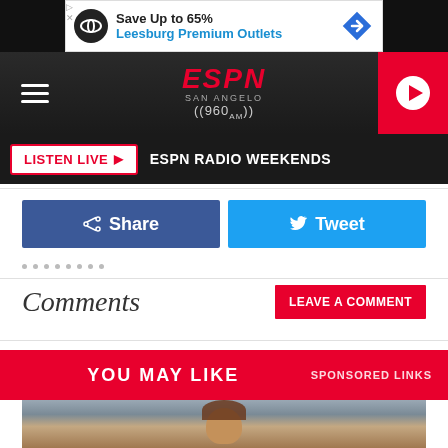[Figure (screenshot): Advertisement banner: Save Up to 65% Leesburg Premium Outlets]
[Figure (screenshot): ESPN San Angelo 960 AM navigation bar with hamburger menu and play button]
LISTEN LIVE ▶   ESPN RADIO WEEKENDS
Share   Tweet
Comments
LEAVE A COMMENT
YOU MAY LIKE   SPONSORED LINKS
[Figure (photo): Person with curly hair in a classroom or educational setting]